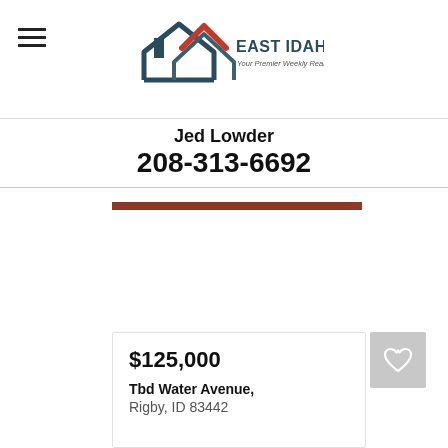East Idaho At Home — Your Premier Weekly Real Estate Guide
Jed Lowder
208-313-6692
$125,000
Tbd Water Avenue,
Rigby, ID 83442